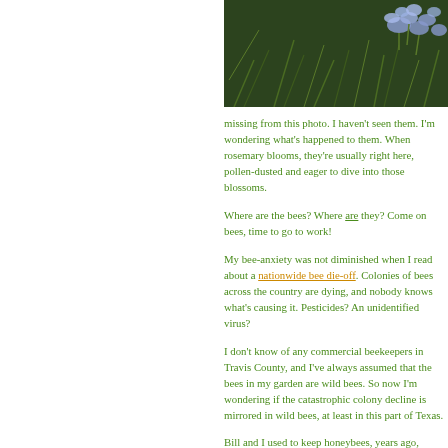[Figure (photo): Close-up photo of blue/purple flowers (rosemary blooms) against a dark green leafy background, cropped to upper right portion of the page.]
missing from this photo. I haven't seen them. I'm wondering what's happened to them. When rosemary blooms, they're usually right here, pollen-dusted and eager to dive into those blossoms.
Where are the bees? Where are they? Come on bees, time to go to work!
My bee-anxiety was not diminished when I read about a nationwide bee die-off. Colonies of bees across the country are dying, and nobody knows what's causing it. Pesticides? An unidentified virus?
I don't know of any commercial beekeepers in Travis County, and I've always assumed that the bees in my garden are wild bees. So now I'm wondering if the catastrophic colony decline is mirrored in wild bees, at least in this part of Texas.
Bill and I used to keep honeybees, years ago,